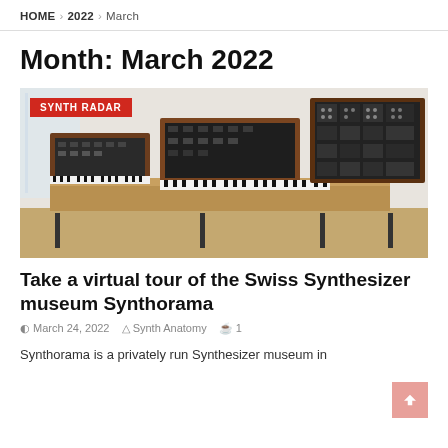HOME > 2022 > March
Month: March 2022
[Figure (photo): Photo of multiple vintage modular synthesizers and keyboards arranged on tables in a museum setting, with wooden cabinet frames and black patch panels]
SYNTH RADAR
Take a virtual tour of the Swiss Synthesizer museum Synthorama
March 24, 2022  Synth Anatomy  1
Synthorama is a privately run Synthesizer museum in